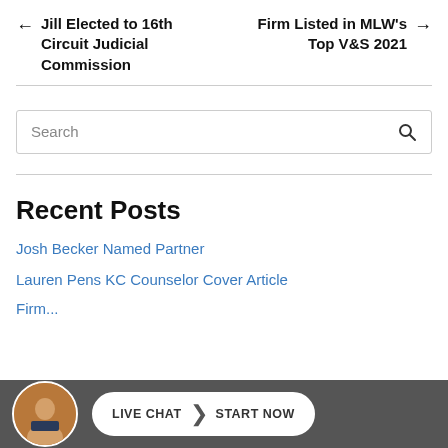← Jill Elected to 16th Circuit Judicial Commission
Firm Listed in MLW's Top V&S 2021 →
Search
Recent Posts
Josh Becker Named Partner
Lauren Pens KC Counselor Cover Article
Firm...
LIVE CHAT | START NOW